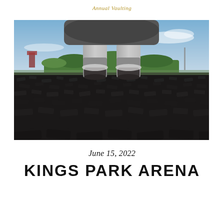Annual Vaulting
[Figure (photo): Low-angle ground-level photograph of horse hooves standing on a dark rubber surface or rubber chip arena footing, with a green treeline and blue sky visible in the background.]
June 15, 2022
KINGS PARK ARENA